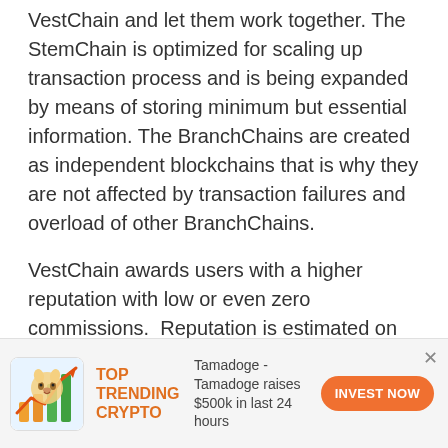VestChain and let them work together. The StemChain is optimized for scaling up transaction process and is being expanded by means of storing minimum but essential information. The BranchChains are created as independent blockchains that is why they are not affected by transaction failures and overload of other BranchChains.
VestChain awards users with a higher reputation with low or even zero commissions. Reputation is estimated on the base of time and useful actions, made in the net; the higher the reputation, the lower the commission.
[Figure (infographic): Advertisement banner: Tamadoge crypto ad with icon showing a shiba inu dog with upward trending bar chart in orange/green colors. Text: TOP TRENDING CRYPTO | Tamadoge - Tamadoge raises $500k in last 24 hours | INVEST NOW button]